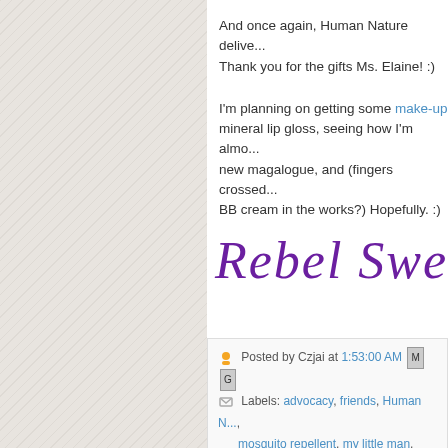And once again, Human Nature delive... Thank you for the gifts Ms. Elaine! :)
I'm planning on getting some make-up mineral lip gloss, seeing how I'm almo... new magalogue, and (fingers crossed... BB cream in the works?) Hopefully. :)
[Figure (illustration): Cursive signature reading 'Rebel Sweeth...' in purple handwritten script]
Posted by Czjai at 1:53:00 AM
Labels: advocacy, friends, Human N..., mosquito repellent, my little man, organ...
1 replies:
Unknown said...